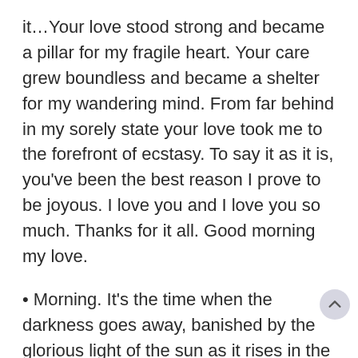it…Your love stood strong and became a pillar for my fragile heart. Your care grew boundless and became a shelter for my wandering mind. From far behind in my sorely state your love took me to the forefront of ecstasy. To say it as it is, you've been the best reason I prove to be joyous. I love you and I love you so much. Thanks for it all. Good morning my love.
• Morning. It's the time when the darkness goes away, banished by the glorious light of the sun as it rises in the East. That's what you are to me. I didn't fully realize it at the time, but my life was darkness before I met you There may have been women in my life be but they were mere stars, their light pale and